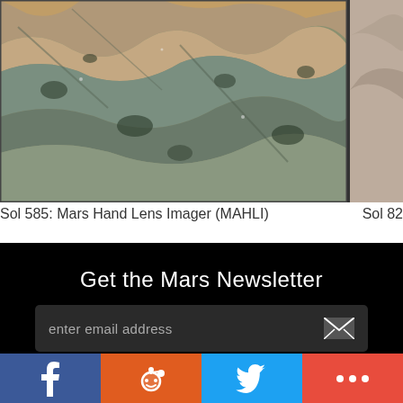[Figure (photo): Close-up photograph of Martian rock surface taken by MAHLI camera on Sol 585, showing textured gray-blue and orange-brown rocky terrain]
Sol 585: Mars Hand Lens Imager (MAHLI)
Sol 82
Get the Mars Newsletter
enter email address
[Figure (infographic): Social share buttons: Facebook (blue), Reddit (orange), Twitter (blue), More (red)]